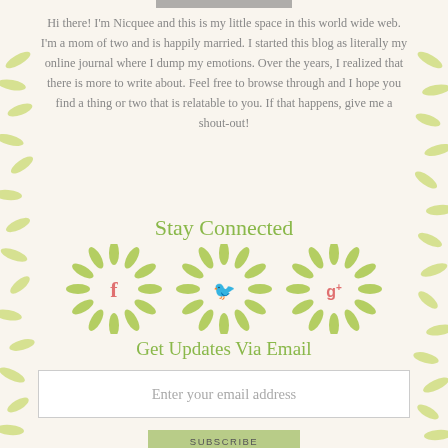[Figure (illustration): Decorative green leaf border on left and right sides of the page]
Hi there! I'm Nicquee and this is my little space in this world wide web. I'm a mom of two and is happily married. I started this blog as literally my online journal where I dump my emotions. Over the years, I realized that there is more to write about. Feel free to browse through and I hope you find a thing or two that is relatable to you. If that happens, give me a shout-out!
Stay Connected
[Figure (illustration): Three circular sunburst/flower icons with social media logos: Facebook (f), Twitter (bird), and Google+ (g+) in green and coral/pink colors]
Get Updates Via Email
Enter your email address
SUBSCRIBE